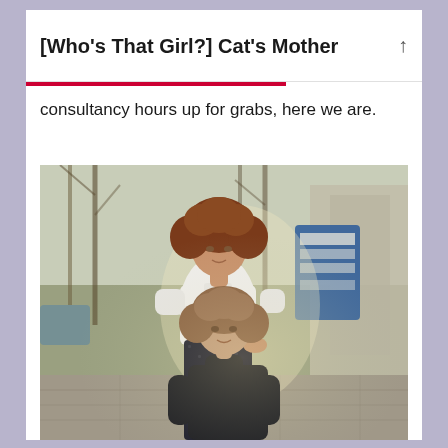[Who's That Girl?] Cat's Mother
consultancy hours up for grabs, here we are.
[Figure (photo): Two women with curly hair posing on a city street. One stands wearing a white short-sleeve top and black patterned trousers, the other sits in front wearing a black turtleneck. Trees and a blue poster board visible in the background.]